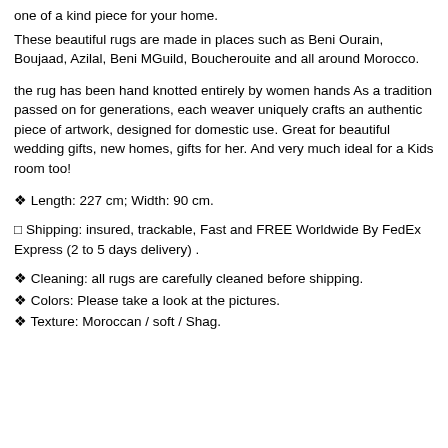one of a kind piece for your home.
These beautiful rugs are made in places such as Beni Ourain, Boujaad, Azilal, Beni MGuild, Boucherouite and all around Morocco.
the rug has been hand knotted entirely by women hands As a tradition passed on for generations, each weaver uniquely crafts an authentic piece of artwork, designed for domestic use. Great for beautiful wedding gifts, new homes, gifts for her. And very much ideal for a Kids room too!
❖ Length: 227 cm; Width: 90 cm.
⬜ Shipping: insured, trackable, Fast and FREE Worldwide By FedEx Express (2 to 5 days delivery) .
❖ Cleaning: all rugs are carefully cleaned before shipping.
❖ Colors: Please take a look at the pictures.
❖ Texture: Moroccan / soft / Shag.